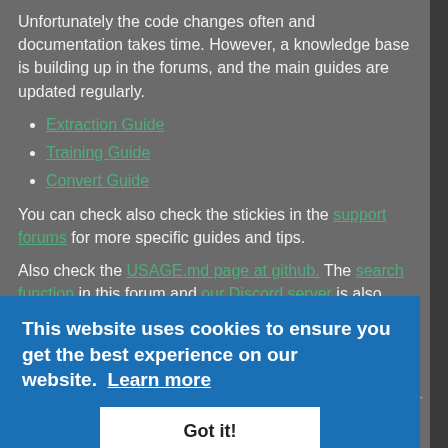Unfortunately the code changes often and documentation takes time. However, a knowledge base is building up in the forums, and the main guides are updated regularly.
Extraction Guide
Training Guide
Convert Guide
You can check also check the stickies in the support forums for more specific guides and tips.
Also check the USAGE.md page at github. The search function in this forum and our Discord server is also useful.
We welcome contributions to the repo/fourm to expand documentation
But seriously I've installed and I don't know what I'm doing!
First and foremost, read the guides. Once you've done that, then read them again from go over them once more for good measure.
[Figure (other): Cookie consent banner overlay: 'This website uses cookies to ensure you get the best experience on our website. Learn more' with a 'Got it!' button]